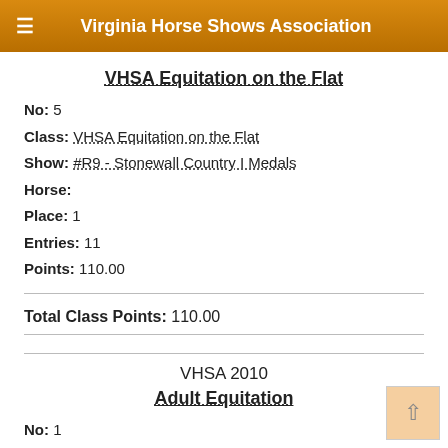Virginia Horse Shows Association
VHSA Equitation on the Flat
No: 5
Class: VHSA Equitation on the Flat
Show: #R9 - Stonewall Country I Medals
Horse:
Place: 1
Entries: 11
Points: 110.00
Total Class Points: 110.00
VHSA 2010
Adult Equitation
No: 1
Class: Adult Equitation